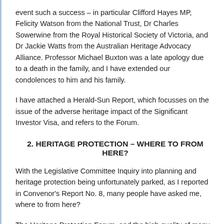event such a success – in particular Clifford Hayes MP, Felicity Watson from the National Trust, Dr Charles Sowerwine from the Royal Historical Society of Victoria, and Dr Jackie Watts from the Australian Heritage Advocacy Alliance. Professor Michael Buxton was a late apology due to a death in the family, and I have extended our condolences to him and his family.
I have attached a Herald-Sun Report, which focusses on the issue of the adverse heritage impact of the Significant Investor Visa, and refers to the Forum.
2. HERITAGE PROTECTION – WHERE TO FROM HERE?
With the Legislative Committee Inquiry into planning and heritage protection being unfortunately parked, as I reported in Convenor's Report No. 8, many people have asked me, where to from here?
The Heritage Protection Forum, and the high quality of many of the submissions to the Legislative Council Inquiry, provide plenty of guidance on the way forward. This being an election year, we need to take the opportunity to press MPs and candidates to commit to